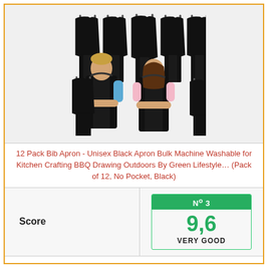[Figure (photo): Product photo showing two people wearing black aprons, surrounded by multiple black bib aprons arranged behind them]
12 Pack Bib Apron - Unisex Black Apron Bulk Machine Washable for Kitchen Crafting BBQ Drawing Outdoors By Green Lifestyle… (Pack of 12, No Pocket, Black)
| Score | Rating |
| --- | --- |
| Score | Nº 3 | 9,6 | VERY GOOD |
1. VALUE PACK: 12 black aprons bulk set is the best value for protective bibs. Made of 100% polyester.